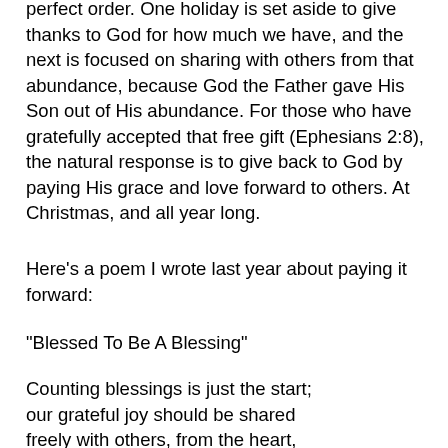perfect order. One holiday is set aside to give thanks to God for how much we have, and the next is focused on sharing with others from that abundance, because God the Father gave His Son out of His abundance. For those who have gratefully accepted that free gift (Ephesians 2:8), the natural response is to give back to God by paying His grace and love forward to others. At Christmas, and all year long.
Here's a poem I wrote last year about paying it forward:
“Blessed To Be A Blessing”
Counting blessings is just the start;
our grateful joy should be shared
freely with others, from the heart,
because for us no expense was spared.
God gave Himself through the Son